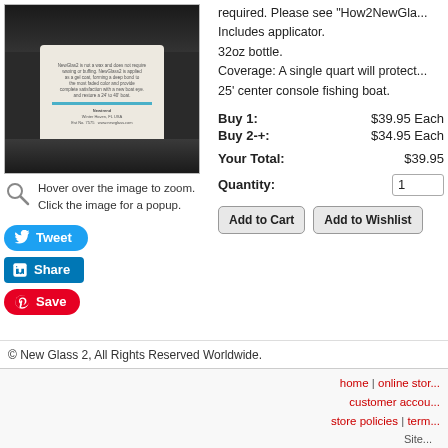[Figure (photo): Product photo of a white bottle with blue stripe label, likely NewGlass2 marine gel coat restorer, shown close-up on dark background]
Hover over the image to zoom.
Click the image for a popup.
Tweet
Share
Save
required. Please see "How2NewGla...
Includes applicator.
32oz bottle.
Coverage: A single quart will protect...
25' center console fishing boat.
Buy 1:	$39.95 Each
Buy 2+:	$34.95 Each
Your Total:	$39.95
Quantity:	1
Add to Cart	Add to Wishlist
© New Glass 2, All Rights Reserved Worldwide.
home | online store... | customer accou... | store policies | term...
Site...